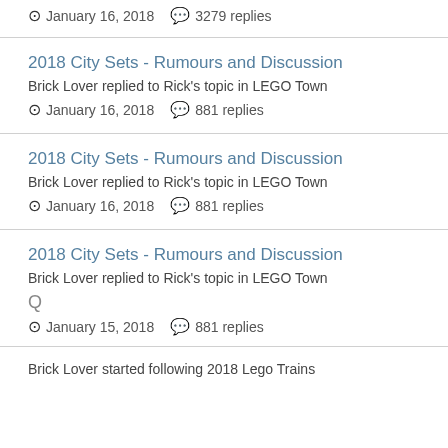January 16, 2018   3279 replies
2018 City Sets - Rumours and Discussion
Brick Lover replied to Rick's topic in LEGO Town
January 16, 2018   881 replies
2018 City Sets - Rumours and Discussion
Brick Lover replied to Rick's topic in LEGO Town
January 16, 2018   881 replies
2018 City Sets - Rumours and Discussion
Brick Lover replied to Rick's topic in LEGO Town
Q
January 15, 2018   881 replies
Brick Lover started following 2018 Lego Trains